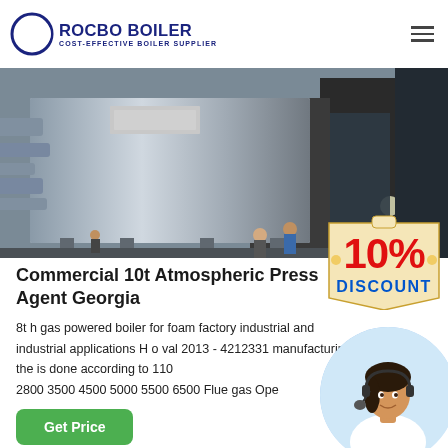ROCBO BOILER — COST-EFFECTIVE BOILER SUPPLIER
[Figure (photo): Industrial boiler unit outdoors with workers standing nearby, large metallic structure with piping]
Commercial 10t Atmospheric Press Agent Georgia
[Figure (infographic): 10% DISCOUNT badge in red and blue text on a beige tag shape]
8t h gas powered boiler for foam factory industrial and industrial applications H o val 2013 - 4212331 manufacturing of the is done according to 110 2800 3500 4500 5000 5500 6500 Flue gas Ope
[Figure (photo): Customer service agent woman with headset smiling, circular cropped photo]
Get Price